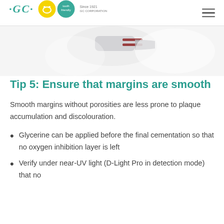GCC logo with smile icon and Since 1921 text, hamburger menu
[Figure (photo): Partial dental product photo showing what appears to be a syringe or applicator tip on a white background]
Tip 5: Ensure that margins are smooth
Smooth margins without porosities are less prone to plaque accumulation and discolouration.
Glycerine can be applied before the final cementation so that no oxygen inhibition layer is left
Verify under near-UV light (D-Light Pro in detection mode) that no